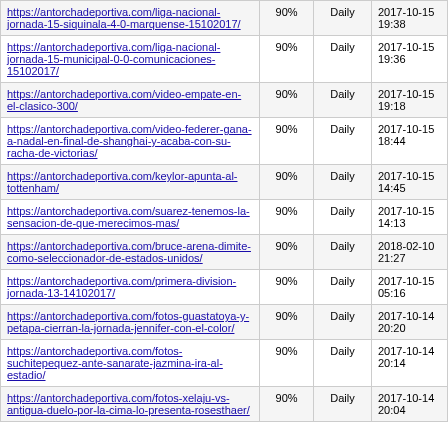| URL | % | Frequency | Date |
| --- | --- | --- | --- |
| https://antorchadeportiva.com/liga-nacional-jornada-15-siquinala-4-0-marquense-15102017/ | 90% | Daily | 2017-10-15 19:38 |
| https://antorchadeportiva.com/liga-nacional-jornada-15-municipal-0-0-comunicaciones-15102017/ | 90% | Daily | 2017-10-15 19:36 |
| https://antorchadeportiva.com/video-empate-en-el-clasico-300/ | 90% | Daily | 2017-10-15 19:18 |
| https://antorchadeportiva.com/video-federer-gana-a-nadal-en-final-de-shanghai-y-acaba-con-su-racha-de-victorias/ | 90% | Daily | 2017-10-15 18:44 |
| https://antorchadeportiva.com/keylor-apunta-al-tottenham/ | 90% | Daily | 2017-10-15 14:45 |
| https://antorchadeportiva.com/suarez-tenemos-la-sensacion-de-que-merecimos-mas/ | 90% | Daily | 2017-10-15 14:13 |
| https://antorchadeportiva.com/bruce-arena-dimite-como-seleccionador-de-estados-unidos/ | 90% | Daily | 2018-02-10 21:27 |
| https://antorchadeportiva.com/primera-division-jornada-13-14102017/ | 90% | Daily | 2017-10-15 05:16 |
| https://antorchadeportiva.com/fotos-guastatoya-y-petapa-cierran-la-jornada-jennifer-con-el-color/ | 90% | Daily | 2017-10-14 20:20 |
| https://antorchadeportiva.com/fotos-suchitepequez-ante-sanarate-jazmina-ira-al-estadio/ | 90% | Daily | 2017-10-14 20:14 |
| https://antorchadeportiva.com/fotos-xelaju-vs-antigua-duelo-por-la-cima-lo-presenta-rosesthaer/ | 90% | Daily | 2017-10-14 20:04 |